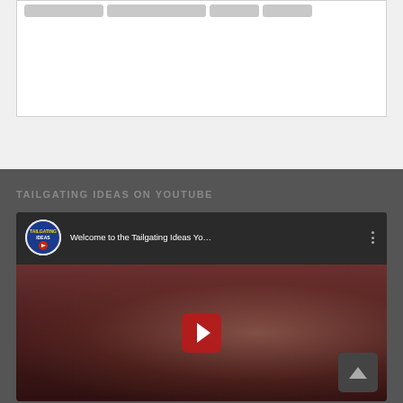[Figure (screenshot): Navigation bar with 4 grey buttons at top of white content box]
TAILGATING IDEAS ON YOUTUBE
[Figure (screenshot): YouTube video embed showing Welcome to the Tailgating Ideas YouTube channel video with play button overlay and scroll-to-top button]